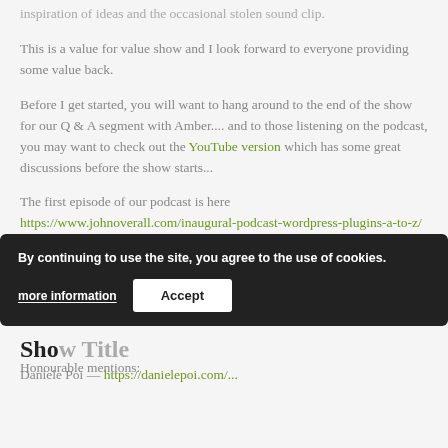inspiration of ideas and the occasional stolen sound clip.
This is a value for value show and I look forward to everyone providing some value back.
Before I get started, you will want to hang around to the end of the show for our Q & A segment with Amber.... and to those listening on the podcast, you may want to check out the YouTube version which has some great discussions before the show starts...
The first episode of our podcast is here https://www.johnoverall.com/inaugural-podcast-wordpress-plugins-a-to-z/ tune in near the end for some nostalgia about where the show has come from.
Producer Credits:
Show Title
Daniele Poi — https://danielepoi.com/...
Honourable mentions:
By continuing to use the site, you agree to the use of cookies.